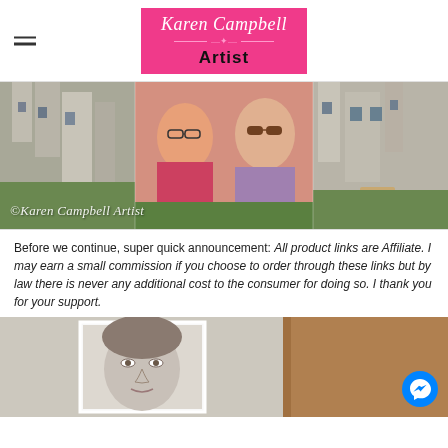Karen Campbell Artist
[Figure (photo): Two women smiling in front of a Scottish castle/manor house. One has dark glasses, the other has regular glasses. Text watermark reads '©Karen Campbell Artist'.]
Before we continue, super quick announcement: All product links are Affiliate. I may earn a small commission if you choose to order through these links but by law there is never any additional cost to the consumer for doing so. I thank you for your support.
[Figure (photo): Partial view of a pencil portrait drawing of a woman's face, framed in white, set against a brown cardboard background. A blue Messenger chat button is visible in the bottom right corner.]